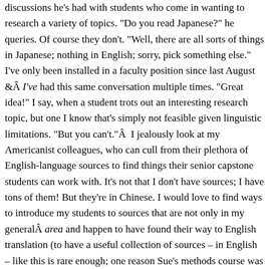discussions he's had with students who come in wanting to research a variety of topics. "Do you read Japanese?" he queries. Of course they don't. "Well, there are all sorts of things in Japanese; nothing in English; sorry, pick something else." I've only been installed in a faculty position since last August &Â I've had this same conversation multiple times. "Great idea!" I say, when a student trots out an interesting research topic, but one I know that's simply not feasible given linguistic limitations. "But you can't."Â  I jealously look at my Americanist colleagues, who can cull from their plethora of English-language sources to find things their senior capstone students can work with. It's not that I don't have sources; I have tons of them! But they're in Chinese. I would love to find ways to introduce my students to sources that are not only in my generalÂ area and happen to have found their way to English translation (to have a useful collection of sources – in English – like this is rare enough; one reason Sue's methods course was based on the Taiping Civil War,